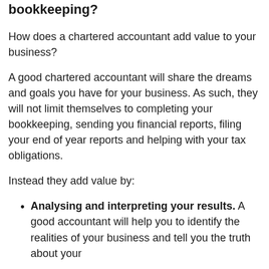bookkeeping?
How does a chartered accountant add value to your business?
A good chartered accountant will share the dreams and goals you have for your business. As such, they will not limit themselves to completing your bookkeeping, sending you financial reports, filing your end of year reports and helping with your tax obligations.
Instead they add value by:
Analysing and interpreting your results. A good accountant will help you to identify the realities of your business and tell you the truth about your